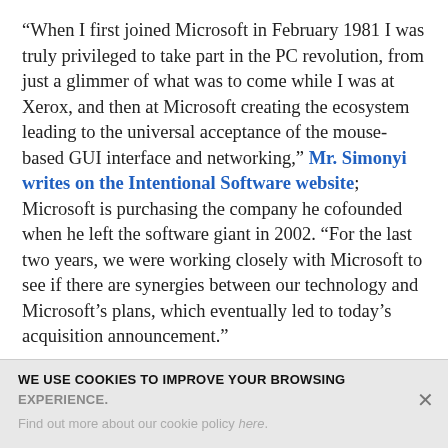“When I first joined Microsoft in February 1981 I was truly privileged to take part in the PC revolution, from just a glimmer of what was to come while I was at Xerox, and then at Microsoft creating the ecosystem leading to the universal acceptance of the mouse-based GUI interface and networking,” Mr. Simonyi writes on the Intentional Software website; Microsoft is purchasing the company he cofounded when he left the software giant in 2002. “For the last two years, we were working closely with Microsoft to see if there are synergies between our technology and Microsoft’s plans, which eventually led to today’s acquisition announcement.”
WE USE COOKIES TO IMPROVE YOUR BROWSING EXPERIENCE. Find out more about our cookie policy here.